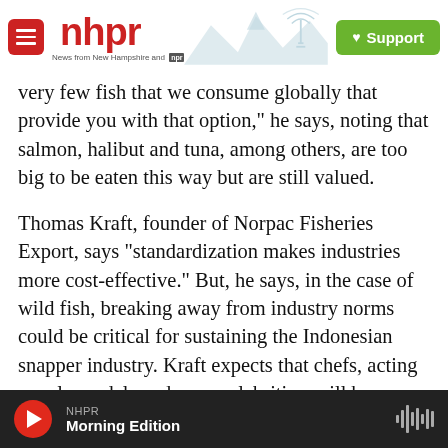[Figure (logo): NHPR (New Hampshire Public Radio) website header with hamburger menu button, NHPR logo in red, mountain/radio tower silhouette illustration, and green Support button]
very few fish that we consume globally that provide you with that option," he says, noting that salmon, halibut and tuna, among others, are too big to be eaten this way but are still valued.
Thomas Kraft, founder of Norpac Fisheries Export, says "standardization makes industries more cost-effective." But, he says, in the case of wild fish, breaking away from industry norms could be critical for sustaining the Indonesian snapper industry. Kraft expects that chefs, acting as role models and even celebrities, will be pivotal in changing the market and, eventually, motivating
NHPR  Morning Edition